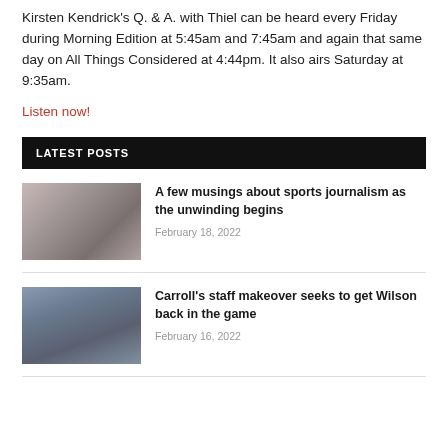Kirsten Kendrick's Q. & A. with Thiel can be heard every Friday during Morning Edition at 5:45am and 7:45am and again that same day on All Things Considered at 4:44pm. It also airs Saturday at 9:35am.
Listen now!
LATEST POSTS
[Figure (photo): Thumbnail photo for sports journalism article]
A few musings about sports journalism as the unwinding begins
February 18, 2022
[Figure (photo): Thumbnail photo for Carroll's staff makeover article]
Carroll's staff makeover seeks to get Wilson back in the game
February 16, 2022